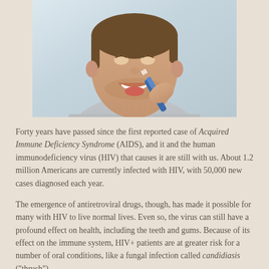[Figure (photo): Close-up photograph of a young man with stubble brushing his teeth with a blue toothbrush, smiling with mouth open, wearing a grey t-shirt, light background.]
Forty years have passed since the first reported case of Acquired Immune Deficiency Syndrome (AIDS), and it and the human immunodeficiency virus (HIV) that causes it are still with us. About 1.2 million Americans are currently infected with HIV, with 50,000 new cases diagnosed each year.
The emergence of antiretroviral drugs, though, has made it possible for many with HIV to live normal lives. Even so, the virus can still have a profound effect on health, including the teeth and gums. Because of its effect on the immune system, HIV+ patients are at greater risk for a number of oral conditions, like a fungal infection called candidiasis ("thrush").